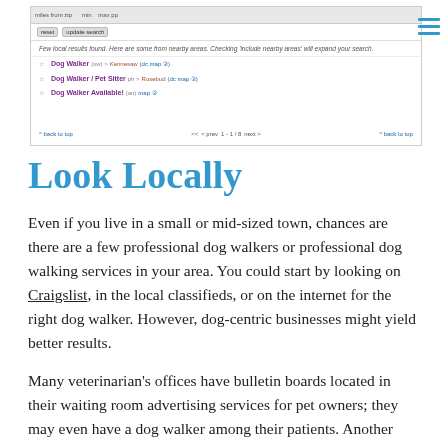[Figure (screenshot): Screenshot of a Craigslist search results page showing dog walker/kennel listings with filters, notice about few local results, and pagination]
Look Locally
Even if you live in a small or mid-sized town, chances are there are a few professional dog walkers or professional dog walking services in your area. You could start by looking on Craigslist, in the local classifieds, or on the internet for the right dog walker. However, dog-centric businesses might yield better results.
Many veterinarian's offices have bulletin boards located in their waiting room advertising services for pet owners; they may even have a dog walker among their patients. Another place to try is a pet supply